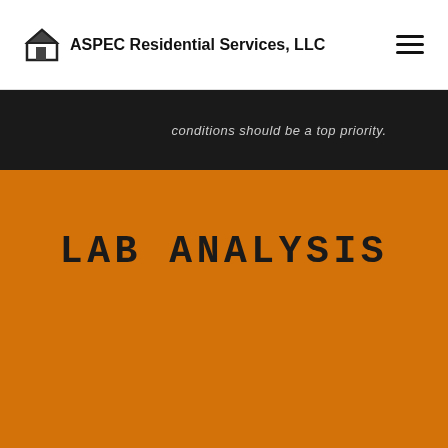ASPEC Residential Services, LLC
conditions should be a top priority.
LAB ANALYSIS